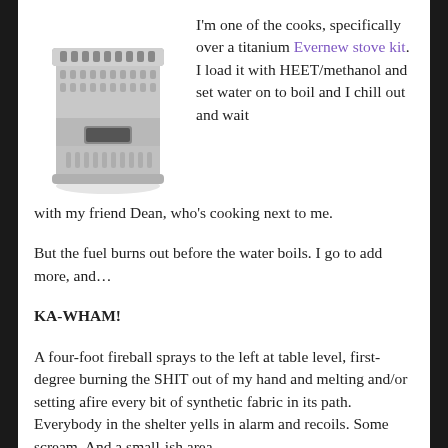[Figure (photo): A titanium Evernew stove kit — a small cylindrical metallic camp stove with perforated sides and a burner chamber at the bottom.]
I'm one of the cooks, specifically over a titanium Evernew stove kit. I load it with HEET/methanol and set water on to boil and I chill out and wait with my friend Dean, who's cooking next to me.
But the fuel burns out before the water boils. I go to add more, and…
KA-WHAM!
A four-foot fireball sprays to the left at table level, first-degree burning the SHIT out of my hand and melting and/or setting afire every bit of synthetic fabric in its path. Everybody in the shelter yells in alarm and recoils. Some scream. And a small-ish area